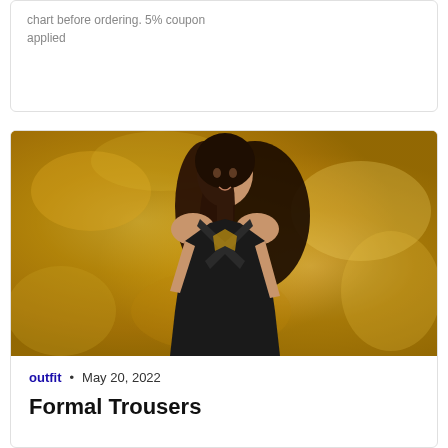chart before ordering. 5% coupon applied
[Figure (photo): Fashion photo of a young woman with long dark hair wearing a black halter-neck cutout dress, posed against a gold textured background]
outfit • May 20, 2022
Formal Trousers